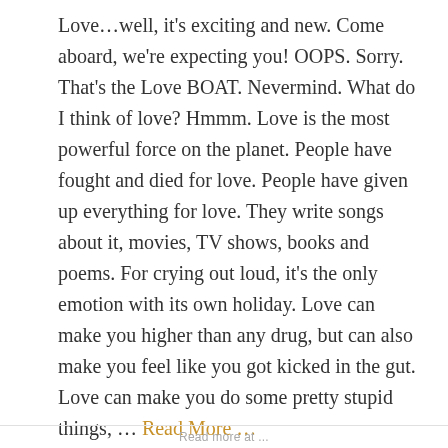Love…well, it's exciting and new. Come aboard, we're expecting you! OOPS. Sorry. That's the Love BOAT. Nevermind. What do I think of love? Hmmm. Love is the most powerful force on the planet. People have fought and died for love. People have given up everything for love. They write songs about it, movies, TV shows, books and poems. For crying out loud, it's the only emotion with its own holiday. Love can make you higher than any drug, but can also make you feel like you got kicked in the gut. Love can make you do some pretty stupid things, ... Read More ...
Read more at ...